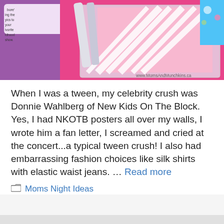[Figure (photo): A photo of pink and white zebra-striped items (likely manicure/nail kit with nail files and a decorative card/case), with a watermark reading www.MomsAndMunchkins.ca at the bottom right. Background includes bright pink sheets and partially visible colorful packaging.]
When I was a tween, my celebrity crush was Donnie Wahlberg of New Kids On The Block. Yes, I had NKOTB posters all over my walls, I wrote him a fan letter, I screamed and cried at the concert...a typical tween crush! I also had embarrassing fashion choices like silk shirts with elastic waist jeans. … Read more
Moms Night Ideas